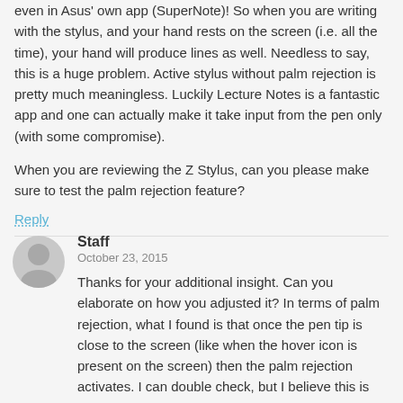even in Asus' own app (SuperNote)! So when you are writing with the stylus, and your hand rests on the screen (i.e. all the time), your hand will produce lines as well. Needless to say, this is a huge problem. Active stylus without palm rejection is pretty much meaningless. Luckily Lecture Notes is a fantastic app and one can actually make it take input from the pen only (with some compromise).
When you are reviewing the Z Stylus, can you please make sure to test the palm rejection feature?
Reply
Staff
October 23, 2015
Thanks for your additional insight. Can you elaborate on how you adjusted it? In terms of palm rejection, what I found is that once the pen tip is close to the screen (like when the hover icon is present on the screen) then the palm rejection activates. I can double check, but I believe this is what I found to be true. I will also try out the Lecture Notes app as you've discussed. Thank you!
Reply